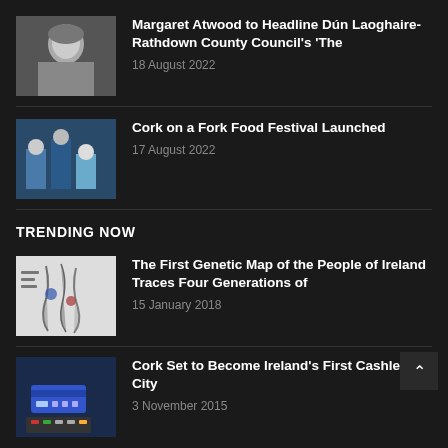[Figure (photo): Photo of Margaret Atwood, elderly woman with grey hair]
Margaret Atwood to Headline Dún Laoghaire-Rathdown County Council's 'The
18 August 2022
[Figure (photo): Photo of people in aprons at a food festival]
Cork on a Fork Food Festival Launched
17 August 2022
TRENDING NOW
[Figure (photo): Genetic map of Ireland and UK]
The First Genetic Map of the People of Ireland Traces Four Generations of
15 January 2018
[Figure (photo): Hand using credit card on payment terminal]
Cork Set to Become Ireland's First Cashless City
3 November 2015